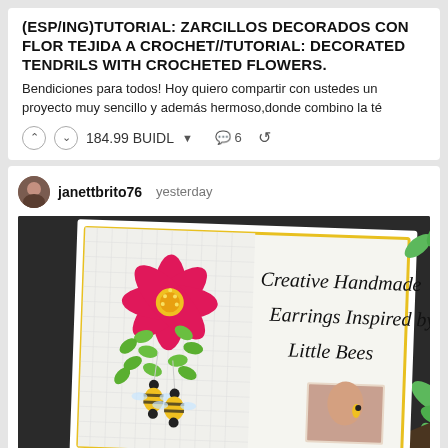(ESP/ING)TUTORIAL: ZARCILLOS DECORADOS CON FLOR TEJIDA A CROCHET//TUTORIAL: DECORATED TENDRILS WITH CROCHETED FLOWERS.
Bendiciones para todos! Hoy quiero compartir con ustedes un proyecto muy sencillo y además hermoso,donde combino la té
184.99 BUIDL   6
janettbrito76 yesterday
[Figure (photo): Creative Handmade Earrings Inspired by Little Bees — photo showing crocheted flower earrings with bee charms, yellow beaded bees with black beads, pink flower and green leaves, on a white mesh background. Cursive text overlay reads 'Creative Handmade Earrings Inspired by Little Bees'. Small inset photo of earrings being worn.]